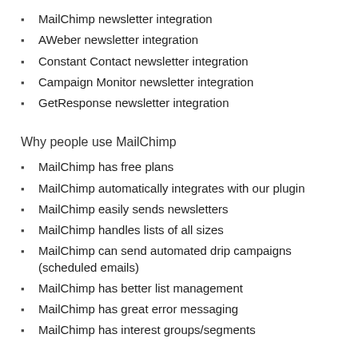MailChimp newsletter integration
AWeber newsletter integration
Constant Contact newsletter integration
Campaign Monitor newsletter integration
GetResponse newsletter integration
Why people use MailChimp
MailChimp has free plans
MailChimp automatically integrates with our plugin
MailChimp easily sends newsletters
MailChimp handles lists of all sizes
MailChimp can send automated drip campaigns (scheduled emails)
MailChimp has better list management
MailChimp has great error messaging
MailChimp has interest groups/segments
Why people use Constant Contact